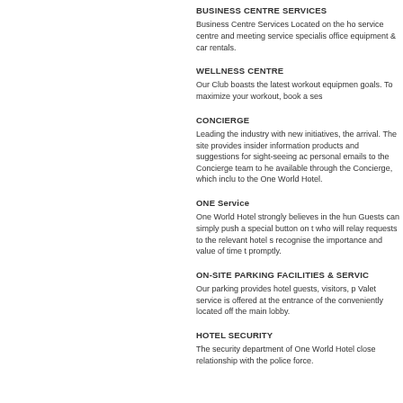BUSINESS CENTRE SERVICES
Business Centre Services Located on the ho... service centre and meeting service specialis... office equipment & car rentals.
WELLNESS CENTRE
Our Club boasts the latest workout equipmen... goals. To maximize your workout, book a ses...
CONCIERGE
Leading the industry with new initiatives, the... arrival. The site provides insider information... products and suggestions for sight-seeing ac... personal emails to the Concierge team to he... available through the Concierge, which inclu... to the One World Hotel.
ONE Service
One World Hotel strongly believes in the hun... Guests can simply push a special button on t... who will relay requests to the relevant hotel s... recognise the importance and value of time t... promptly.
ON-SITE PARKING FACILITIES & SERVIC...
Our parking provides hotel guests, visitors, p... Valet service is offered at the entrance of the... conveniently located off the main lobby.
HOTEL SECURITY
The security department of One World Hotel... close relationship with the police force.